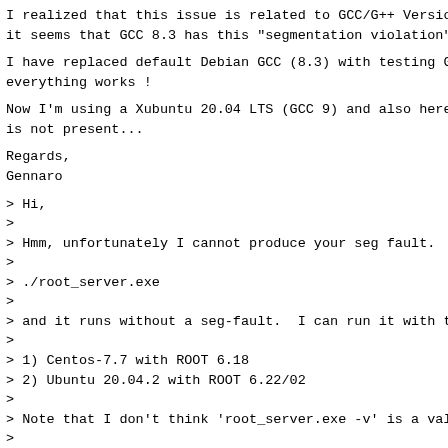I realized that this issue is related to GCC/G++ Versio
it seems that GCC 8.3 has this "segmentation violation"
I have replaced default Debian GCC (8.3) with testing G
everything works !
Now I'm using a Xubuntu 20.04 LTS (GCC 9) and also here
is not present...
Regards,
Gennaro
> Hi,
>
> Hmm, unfortunately I cannot produce your seg fault.
>
> ./root_server.exe
>
> and it runs without a seg-fault.  I can run it with t
>
> 1) Centos-7.7 with ROOT 6.18
> 2) Ubuntu 20.04.2 with ROOT 6.22/02
>
> Note that I don't think 'root_server.exe -v' is a val
>
> I will try to make a ROOT 6.22/06 version sometime, b
> application stuff is annoying and I will try to remov
>
> I do get the same annoying Cling errors as you.  They
>